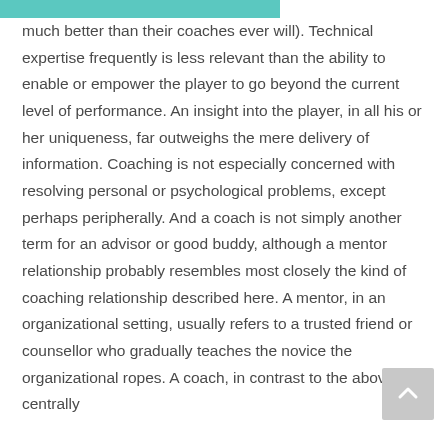much better than their coaches ever will). Technical expertise frequently is less relevant than the ability to enable or empower the player to go beyond the current level of performance. An insight into the player, in all his or her uniqueness, far outweighs the mere delivery of information. Coaching is not especially concerned with resolving personal or psychological problems, except perhaps peripherally. And a coach is not simply another term for an advisor or good buddy, although a mentor relationship probably resembles most closely the kind of coaching relationship described here. A mentor, in an organizational setting, usually refers to a trusted friend or counsellor who gradually teaches the novice the organizational ropes. A coach, in contrast to the above, is centrally